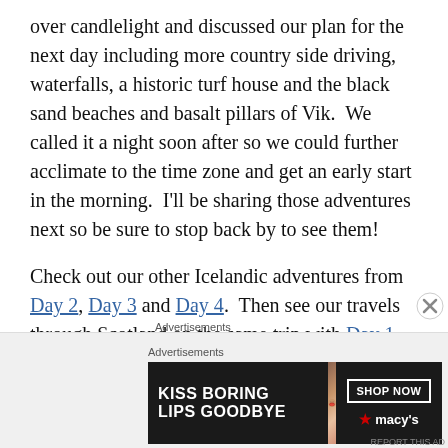over candlelight and discussed our plan for the next day including more country side driving, waterfalls, a historic turf house and the black sand beaches and basalt pillars of Vik.  We called it a night soon after so we could further acclimate to the time zone and get an early start in the morning.  I'll be sharing those adventures next so be sure to stop back by to see them!
Check out our other Icelandic adventures from Day 2, Day 3 and Day 4.  Then see our travels through Scotland on the same trip with Day 1, Day 2 here and here and Day 3.
Advertisements
[Figure (illustration): Advertisement banner for Macy's lipstick: 'KISS BORING LIPS GOODBYE' with SHOP NOW button and Macy's star logo, showing a woman's face with red lips.]